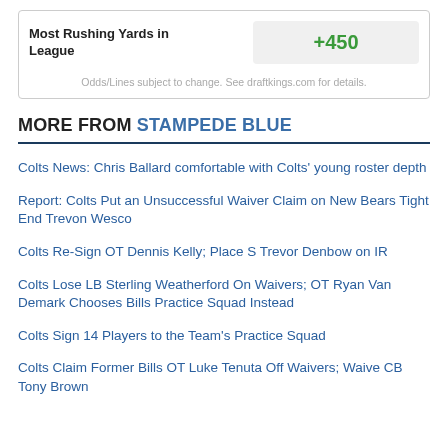| Bet | Odds |
| --- | --- |
| Most Rushing Yards in League | +450 |
Odds/Lines subject to change. See draftkings.com for details.
MORE FROM STAMPEDE BLUE
Colts News: Chris Ballard comfortable with Colts' young roster depth
Report: Colts Put an Unsuccessful Waiver Claim on New Bears Tight End Trevon Wesco
Colts Re-Sign OT Dennis Kelly; Place S Trevor Denbow on IR
Colts Lose LB Sterling Weatherford On Waivers; OT Ryan Van Demark Chooses Bills Practice Squad Instead
Colts Sign 14 Players to the Team's Practice Squad
Colts Claim Former Bills OT Luke Tenuta Off Waivers; Waive CB Tony Brown